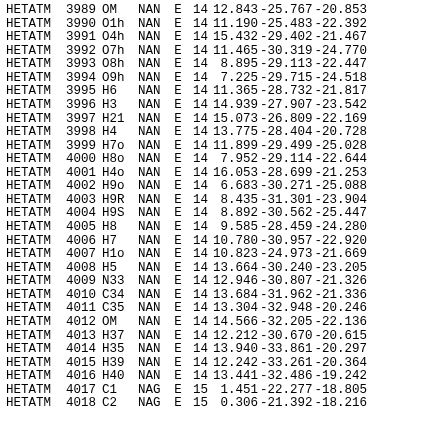| Record | Serial | Name | ResName | Chain | ResSeq | X | Y | Z |
| --- | --- | --- | --- | --- | --- | --- | --- | --- |
| HETATM | 3989 | OM | NAN | E | 14 | 12.843 | -25.767 | -20.853 |
| HETATM | 3990 | O1h | NAN | E | 14 | 11.190 | -25.483 | -22.392 |
| HETATM | 3991 | O4h | NAN | E | 14 | 15.432 | -29.402 | -21.467 |
| HETATM | 3992 | O7h | NAN | E | 14 | 11.465 | -30.319 | -24.770 |
| HETATM | 3993 | O8h | NAN | E | 14 | 8.895 | -29.113 | -22.447 |
| HETATM | 3994 | O9h | NAN | E | 14 | 7.225 | -29.715 | -24.518 |
| HETATM | 3995 | H6 | NAN | E | 14 | 11.365 | -28.732 | -21.817 |
| HETATM | 3996 | H3 | NAN | E | 14 | 14.939 | -27.907 | -23.542 |
| HETATM | 3997 | H21 | NAN | E | 14 | 15.073 | -26.809 | -22.169 |
| HETATM | 3998 | H4 | NAN | E | 14 | 13.775 | -28.404 | -20.728 |
| HETATM | 3999 | H7o | NAN | E | 14 | 11.899 | -29.499 | -25.028 |
| HETATM | 4000 | H8o | NAN | E | 14 | 7.952 | -29.114 | -22.644 |
| HETATM | 4001 | H4o | NAN | E | 14 | 16.053 | -28.699 | -21.253 |
| HETATM | 4002 | H9o | NAN | E | 14 | 6.683 | -30.271 | -25.088 |
| HETATM | 4003 | H9R | NAN | E | 14 | 8.435 | -31.301 | -23.904 |
| HETATM | 4004 | H9S | NAN | E | 14 | 8.892 | -30.562 | -25.447 |
| HETATM | 4005 | H8 | NAN | E | 14 | 9.585 | -28.459 | -24.280 |
| HETATM | 4006 | H7 | NAN | E | 14 | 10.780 | -30.957 | -22.920 |
| HETATM | 4007 | H1o | NAN | E | 14 | 10.823 | -24.973 | -21.669 |
| HETATM | 4008 | H5 | NAN | E | 14 | 13.664 | -30.240 | -23.205 |
| HETATM | 4009 | N33 | NAN | E | 14 | 12.946 | -30.807 | -21.326 |
| HETATM | 4010 | C34 | NAN | E | 14 | 13.684 | -31.962 | -21.336 |
| HETATM | 4011 | C35 | NAN | E | 14 | 13.304 | -32.948 | -20.246 |
| HETATM | 4012 | OM | NAN | E | 14 | 14.566 | -32.205 | -22.136 |
| HETATM | 4013 | H37 | NAN | E | 14 | 12.212 | -30.670 | -20.615 |
| HETATM | 4014 | H35 | NAN | E | 14 | 13.940 | -33.861 | -20.297 |
| HETATM | 4015 | H39 | NAN | E | 14 | 12.242 | -33.261 | -20.364 |
| HETATM | 4016 | H40 | NAN | E | 14 | 13.441 | -32.486 | -19.242 |
| HETATM | 4017 | C1 | NAG | E | 15 | 1.451 | -22.277 | -18.805 |
| HETATM | 4018 | C2 | NAG | E | 15 | 0.306 | -21.392 | -18.216 |